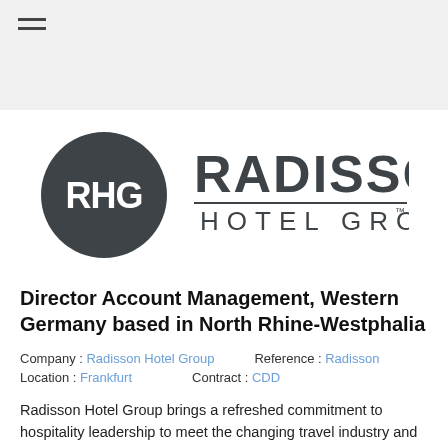[Figure (logo): Radisson Hotel Group logo with RHG circular emblem and RADISSON HOTEL GROUP wordmark]
Director Account Management, Western Germany based in North Rhine-Westphalia
Company : Radisson Hotel Group    Reference : Radisson
Location : Frankfurt    Contract : CDD
Radisson Hotel Group brings a refreshed commitment to hospitality leadership to meet the changing travel industry and the bespoke needs of our guests. We provide exceptional service in all of our hote...